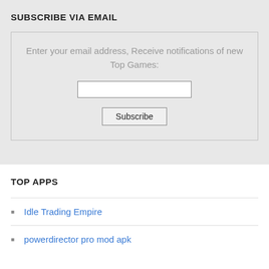SUBSCRIBE VIA EMAIL
Enter your email address, Receive notifications of new Top Games:
TOP APPS
Idle Trading Empire
powerdirector pro mod apk